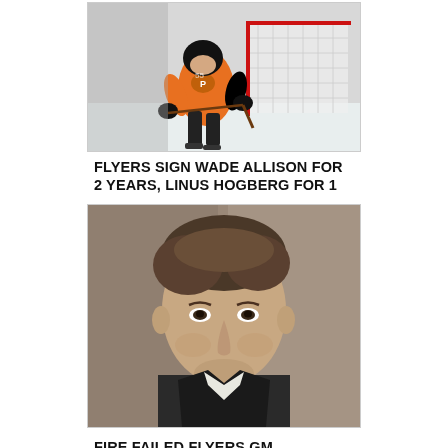[Figure (photo): Hockey player in orange Philadelphia Flyers jersey shooting at goal net on ice]
FLYERS SIGN WADE ALLISON FOR 2 YEARS, LINUS HOGBERG FOR 1
[Figure (photo): Close-up portrait of a man in a suit, looking forward with a slight expression]
FIRE FAILED FLYERS GM FLETCHER, GAUDREAU EVIDENTLY AGREES!